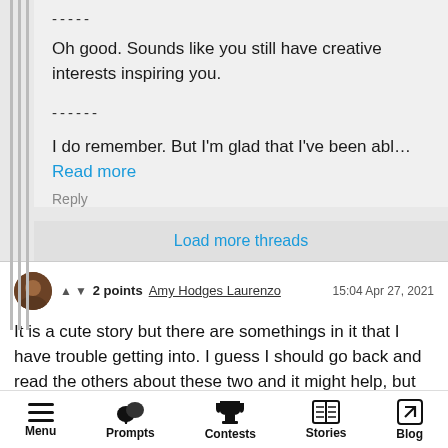-----
Oh good. Sounds like you still have creative interests inspiring you.
------
I do remember. But I'm glad that I've been abl... Read more
Reply
Load more threads
2 points  Amy Hodges Laurenzo  15:04 Apr 27, 2021
It is a cute story but there are somethings in it that I have trouble getting into. I guess I should go back and read the others about these two and it might help, but
Menu  Prompts  Contests  Stories  Blog